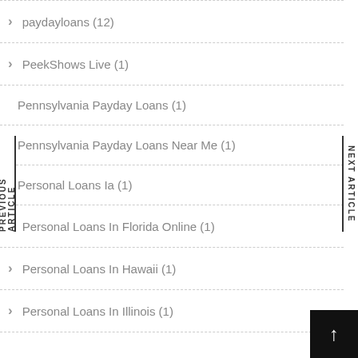paydayloans (12)
PeekShows Live (1)
Pennsylvania Payday Loans (1)
Pennsylvania Payday Loans Near Me (1)
Personal Loans Ia (1)
Personal Loans In Florida Online (1)
Personal Loans In Hawaii (1)
Personal Loans In Illinois (1)